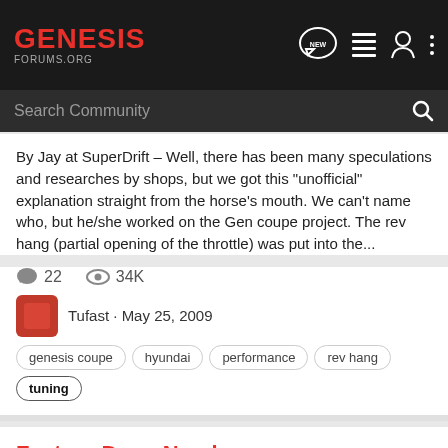GENESIS FORUMS.ORG
By Jay at SuperDrift - Well, there has been many speculations and researches by shops, but we got this "unofficial" explanation straight from the horse's mouth. We can't name who, but he/she worked on the Gen coupe project. The rev hang (partial opening of the throttle) was put into the...
22 comments · 34K views · Tufast · May 25, 2009
genesis coupe
hyundai
performance
rev hang
tuning
Factory Dyno Numbers
Hyundai Genesis Coupe Performance
Originally Posted by JR from AEM This is the average of 3 dyno pulls. All three started at the same coolant temps, air...